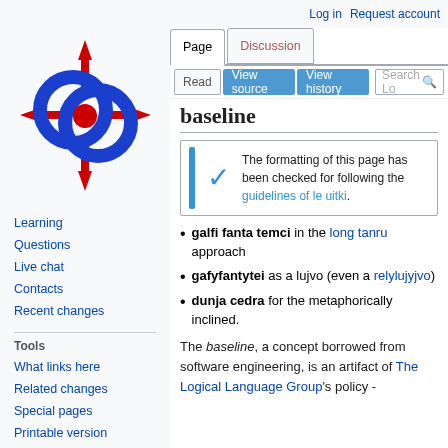Log in   Request account
[Figure (logo): Lojban wiki logo: blue interlocking rings with red compass arrows]
Learning
Questions
Live chat
Contacts
Recent changes
Tools
What links here
Related changes
Special pages
Printable version
Permanent link
Page information
baseline
The formatting of this page has been checked for following the guidelines of le uitki.
galfi fanta temci in the long tanru approach
gafyfantytei as a lujvo (even a relylujyjvo)
dunja cedra for the metaphorically inclined.
The baseline, a concept borrowed from software engineering, is an artifact of The Logical Language Group's policy -